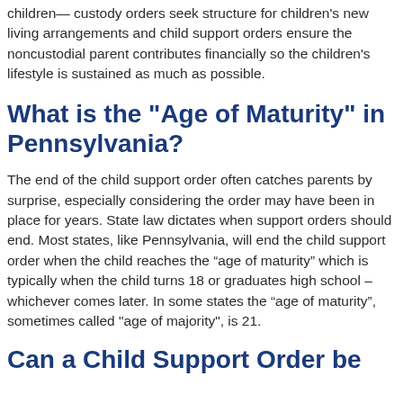children— custody orders seek structure for children's new living arrangements and child support orders ensure the noncustodial parent contributes financially so the children's lifestyle is sustained as much as possible.
What is the "Age of Maturity" in Pennsylvania?
The end of the child support order often catches parents by surprise, especially considering the order may have been in place for years. State law dictates when support orders should end. Most states, like Pennsylvania, will end the child support order when the child reaches the “age of maturity” which is typically when the child turns 18 or graduates high school – whichever comes later. In some states the “age of maturity”, sometimes called "age of majority", is 21.
Can a Child Support Order be